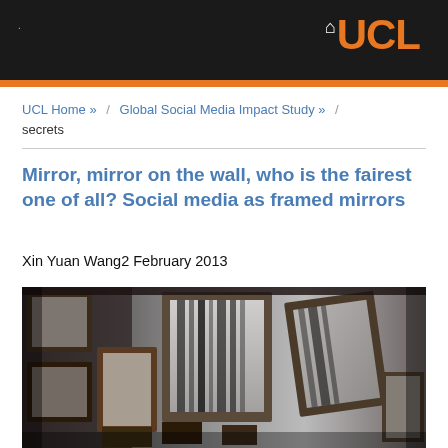UCL
UCL Home »  /  Global Social Media Impact Study »  /  secrets
Mirror, mirror on the wall, who is the fairest one of all? Social media as framed mirrors
Xin Yuan Wang2 February 2013
[Figure (photo): Black and white photograph of multiple framed mirrors stacked and leaning against each other, showing reflections of palm tree shadows.]